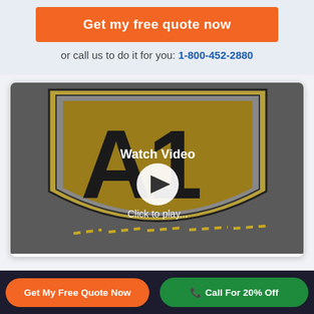Get my free quote now
or call us to do it for you: 1-800-452-2880
[Figure (screenshot): A1 auto transport company logo video thumbnail showing a gold and black shield with 'A1' text. Overlaid with 'Watch Video' text, a play button, and 'Click to play...' text.]
Mode of shipping
Get My Free Quote Now
Call For 20% Off